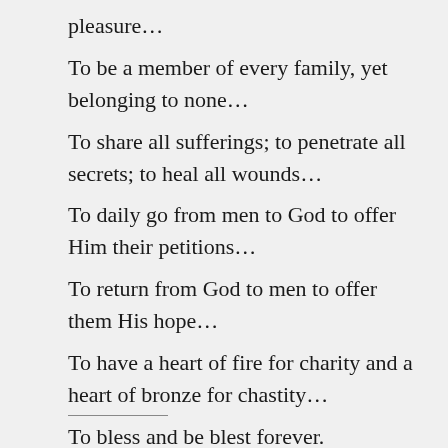pleasure…
To be a member of every family, yet belonging to none…
To share all sufferings; to penetrate all secrets; to heal all wounds…
To daily go from men to God to offer Him their petitions…
To return from God to men to offer them His hope…
To have a heart of fire for charity and a heart of bronze for chastity…
To bless and be blest forever.
O God, what a life, and it is yours,
O Priest of Jesus Christ!